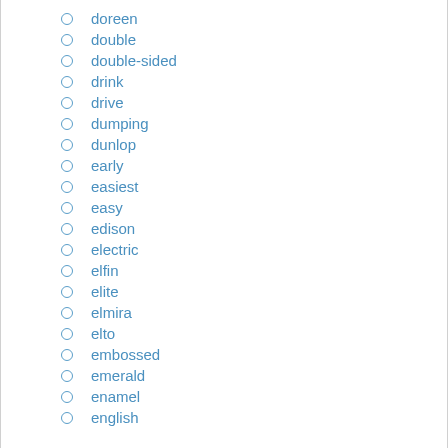doreen
double
double-sided
drink
drive
dumping
dunlop
early
easiest
easy
edison
electric
elfin
elite
elmira
elto
embossed
emerald
enamel
english